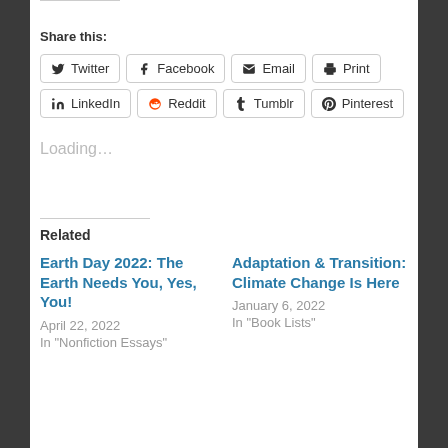Share this:
Twitter | Facebook | Email | Print | LinkedIn | Reddit | Tumblr | Pinterest
Loading...
Related
Earth Day 2022: The Earth Needs You, Yes, You!
April 22, 2022
In "Nonfiction Essays"
Adaptation & Transition: Climate Change Is Here
January 6, 2022
In "Book Lists"